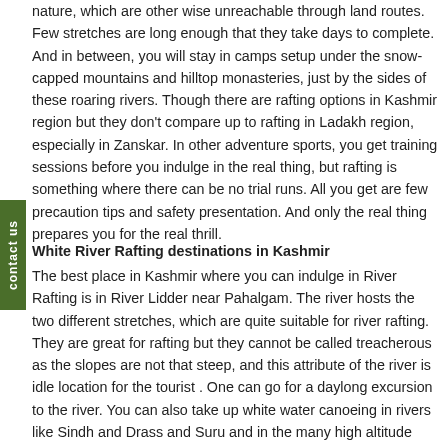nature, which are other wise unreachable through land routes. Few stretches are long enough that they take days to complete. And in between, you will stay in camps setup under the snow-capped mountains and hilltop monasteries, just by the sides of these roaring rivers. Though there are rafting options in Kashmir region but they don't compare up to rafting in Ladakh region, especially in Zanskar. In other adventure sports, you get training sessions before you indulge in the real thing, but rafting is something where there can be no trial runs. All you get are few precaution tips and safety presentation. And only the real thing prepares you for the real thrill.
White River Rafting destinations in Kashmir
The best place in Kashmir where you can indulge in River Rafting is in River Lidder near Pahalgam. The river hosts the two different stretches, which are quite suitable for river rafting. They are great for rafting but they cannot be called treacherous as the slopes are not that steep, and this attribute of the river is idle location for the tourist . One can go for a daylong excursion to the river. You can also take up white water canoeing in rivers like Sindh and Drass and Suru and in the many high altitude lakes like Gangabal, Kaunsarnag and Vishensar. Its worth the time and money that you will spend on it.